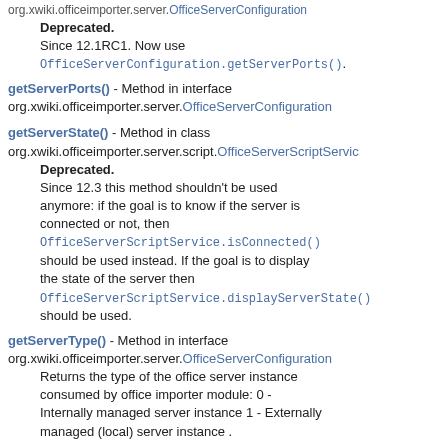org.xwiki.officeimporter.server.OfficeServerConfiguration
Deprecated.
Since 12.1RC1. Now use OfficeServerConfiguration.getServerPorts().
getServerPorts() - Method in interface org.xwiki.officeimporter.server.OfficeServerConfiguration
getServerState() - Method in class org.xwiki.officeimporter.server.script.OfficeServerScriptService
Deprecated.
Since 12.3 this method shouldn't be used anymore: if the goal is to know if the server is connected or not, then OfficeServerScriptService.isConnected() should be used instead. If the goal is to display the state of the server then OfficeServerScriptService.displayServerState() should be used.
getServerType() - Method in interface org.xwiki.officeimporter.server.OfficeServerConfiguration
Returns the type of the office server instance consumed by office importer module: 0 - Internally managed server instance 1 - Externally managed (local) server instance .
getState() - Method in interface org.xwiki.officeimporter.server.OfficeServer